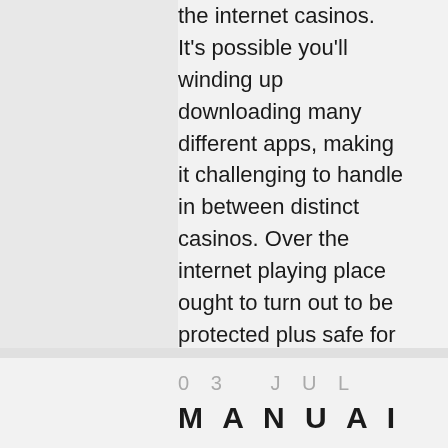the internet casinos. It's possible you'll winding up downloading many different apps, making it challenging to handle in between distinct casinos. Over the internet playing place ought to turn out to be protected plus safe for everybody participants.
LEES MEER
03 JUL
MANUAI